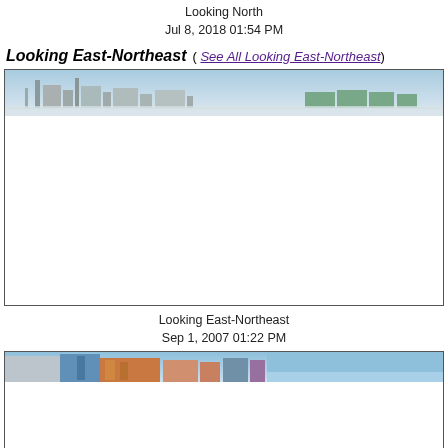Looking North
Jul 8, 2018 01:54 PM
Looking East-Northeast   (See All Looking East-Northeast)
[Figure (photo): Panoramic photograph looking east-northeast showing industrial skyline with structures, taken Jul 8, 2018 01:54 PM. Top strip shows sky and distant industrial buildings/structures silhouette.]
Looking East-Northeast
Sep 1, 2007 01:22 PM
[Figure (photo): Panoramic photograph looking east-northeast showing industrial buildings and structures in color, taken Sep 1, 2007 01:22 PM. Shows colorful building facades and equipment.]